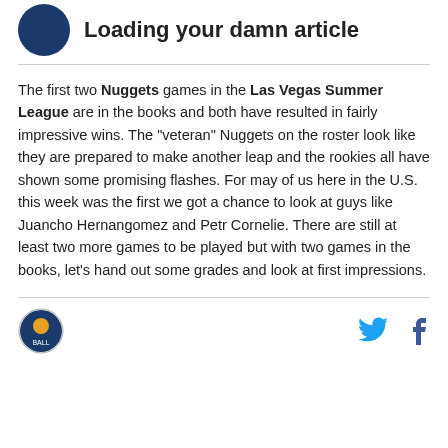[Figure (logo): Dark blue circular avatar/logo in top left]
Loading your damn article
The first two Nuggets games in the Las Vegas Summer League are in the books and both have resulted in fairly impressive wins. The "veteran" Nuggets on the roster look like they are prepared to make another leap and the rookies all have shown some promising flashes. For may of us here in the U.S. this week was the first we got a chance to look at guys like Juancho Hernangomez and Petr Cornelie. There are still at least two more games to be played but with two games in the books, let's hand out some grades and look at first impressions.
[Figure (logo): Site logo circular badge bottom left]
[Figure (illustration): Twitter bird icon in cyan]
[Figure (illustration): Facebook f icon in dark blue]